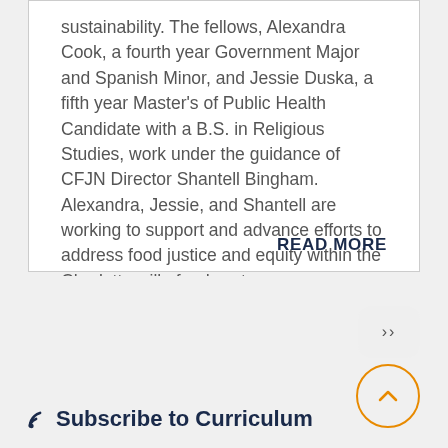sustainability. The fellows, Alexandra Cook, a fourth year Government Major and Spanish Minor, and Jessie Duska, a fifth year Master's of Public Health Candidate with a B.S. in Religious Studies, work under the guidance of CFJN Director Shantell Bingham. Alexandra, Jessie, and Shantell are working to support and advance efforts to address food justice and equity within the Charlottesville food system.
READ MORE
Subscribe to Curriculum